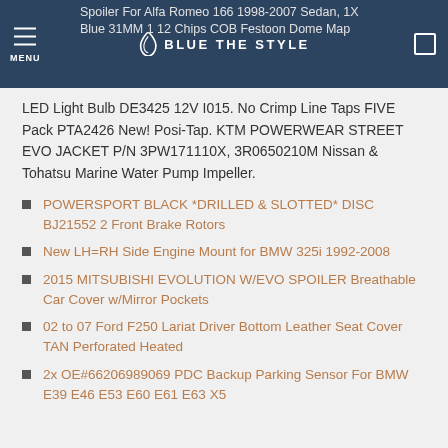Spoiler For Alfa Romeo 166 1998-2007 Sedan, 1X Blue 31MM 1 12 Chips COB Festoon Dome Map LED Light Bulb DE3425 12V I015. No Crimp Line Taps FIVE Pack PTA2426 New! Posi-Tap. KTM POWERWEAR STREET EVO JACKET P/N 3PW171110X, 3R0650210M Nissan & Tohatsu Marine Water Pump Impeller.
Spoiler For Alfa Romeo 166 1998-2007 Sedan, 1X Blue 31MM 1 12 Chips COB Festoon Dome Map LED Light Bulb DE3425 12V I015. No Crimp Line Taps FIVE Pack PTA2426 New! Posi-Tap. KTM POWERWEAR STREET EVO JACKET P/N 3PW171110X, 3R0650210M Nissan & Tohatsu Marine Water Pump Impeller.
POWERSPORT BLACK *DRILLED & SLOTTED* DISC BJ21552 2 Front Brake Rotors
New LH=RH Side Engine Mount for BMW 325i 1992-2008
2015 MITSUBISHI EVOLUTION W/EVO SPOILER Breathable Car Cover w/Mirror Pockets
02 to 07 Ford F250 Lariat Driver Bottom Leather Seat Cover TAN Perforated Heated
2x OE#66206989069 PDC Backup Parking Sensor For BMW E39 E46 E53 E60 E61 E63 X5